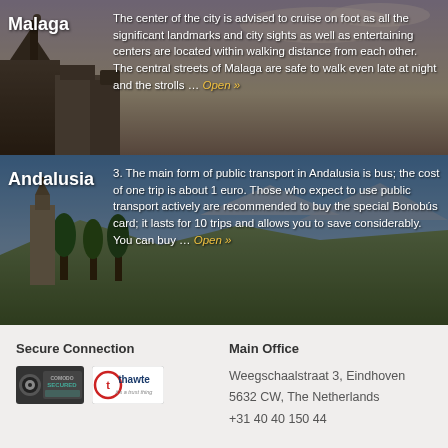[Figure (photo): Malaga cityscape with historic buildings at dusk, dark overlay]
Malaga
The center of the city is advised to cruise on foot as all the significant landmarks and city sights as well as entertaining centers are located within walking distance from each other. The central streets of Malaga are safe to walk even late at night and the strolls … Open »
[Figure (photo): Andalusia landscape with church tower and trees under blue sky]
Andalusia
3. The main form of public transport in Andalusia is bus; the cost of one trip is about 1 euro. Those who expect to use public transport actively are recommended to buy the special Bonobús card; it lasts for 10 trips and allows you to save considerably. You can buy … Open »
Secure Connection
[Figure (logo): Comodo Secured and Thawte trust logos]
Main Office
Weegschaalstraat 3, Eindhoven
5632 CW, The Netherlands
+31 40 40 150 44